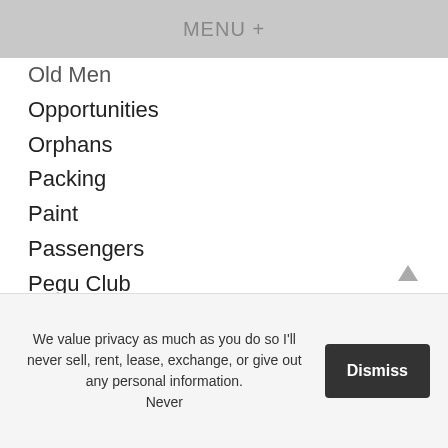MENU +
Old Men
Opportunities
Orphans
Packing
Paint
Passengers
Pegu Club
People
Perspective
Philosophy
Photojournalism
Pipes
Playing
Portraits
Praying
We value privacy as much as you do so I'll never sell, rent, lease, exchange, or give out any personal information. Never
Dismiss